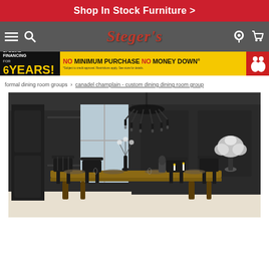Shop In Stock Furniture >
[Figure (logo): Steger's furniture store logo and navigation bar with hamburger menu, search, location, and cart icons]
[Figure (infographic): Special Financing for 6 Years! No Minimum Purchase No Money Down banner in black and yellow]
formal dining room groups > canadel champlain - custom dining dining room group
[Figure (photo): Dark elegant dining room with black chandelier, dark walls, wooden dining table with black chairs, and white floral arrangements]